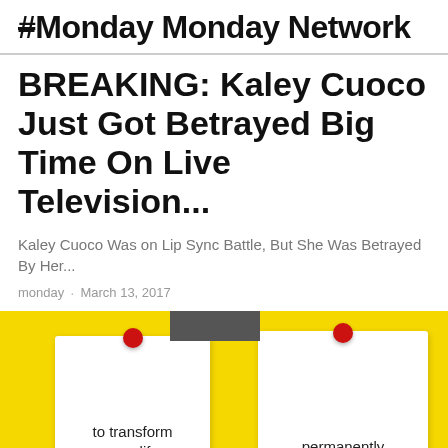#Monday Monday Network
BREAKING: Kaley Cuoco Just Got Betrayed Big Time On Live Television...
Kaley Cuoco Was on Lip Sync Battle, But She Was Betrayed By Her...
monday · March 13, 2017
[Figure (photo): Yellow background with two white note cards pinned with red pushpins. Left card reads 'to transform your life', right card reads 'permanently'.]